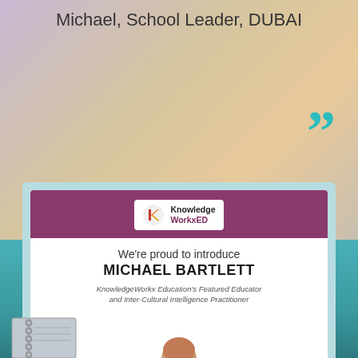Michael, School Leader, DUBAI
[Figure (other): Large teal closing quotation mark decorative element]
[Figure (infographic): KnowledgeWorkxED promotional card featuring Michael Bartlett as Featured Educator and Inter-Cultural Intelligence Practitioner, with portrait photo and company logo. Footer reads: © 2020 KnowledgeWorkxED]
[Figure (photo): Partial view of notebook/spiral binder at bottom of page on teal background]